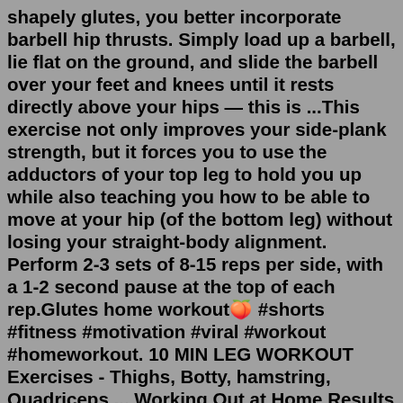shapely glutes, you better incorporate barbell hip thrusts. Simply load up a barbell, lie flat on the ground, and slide the barbell over your feet and knees until it rests directly above your hips — this is ...This exercise not only improves your side-plank strength, but it forces you to use the adductors of your top leg to hold you up while also teaching you how to be able to move at your hip (of the bottom leg) without losing your straight-body alignment. Perform 2-3 sets of 8-15 reps per side, with a 1-2 second pause at the top of each rep.Glutes home workout🍑 #shorts #fitness #motivation #viral #workout #homeworkout. 10 MIN LEG WORKOUT Exercises - Thighs, Botty, hamstring, Quadriceps ... Working Out at Home Results Reddit. February 24, 2022. Very Sweaty FAT BURN Cardio + ABS: STANDING Knee Friendly Descending Ladder Workout (30 Minutes)I have his book "Strong Curves" which is great, and although targeted towards women there are some glute activation exercises that are good to help you focus those glutes before doing squats, etc. He's also done...